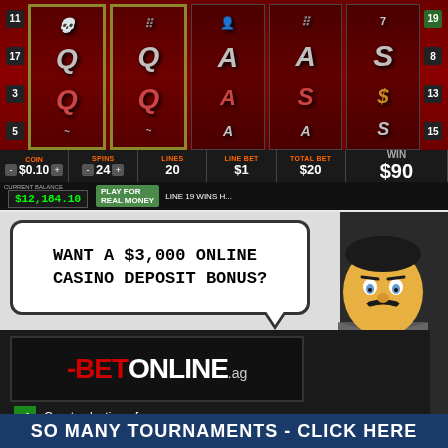[Figure (screenshot): Online slot machine game screenshot showing reels with Q, A, S symbols on dark red background. Game stats: $0.10 coin, 24 spins, 20 lines, $1 line bet, $20 total bet, $90 win. Buttons: INFO, STOP, LINES, BET PER LINE, BET MAX, SPIN. Balance: $12,184.10. Watermark: CASINOANSWERS.COM]
[Figure (infographic): Online casino advertisement for BetOnline.ag. Speech bubble with cartoon dealer character saying 'WANT A $3,000 ONLINE CASINO DEPOSIT BONUS?'. BetOnline.ag logo on dark background. Checklist: Great selection of games. Excellent live dealers. Blackjack, Roulette Tournaments. Bottom banner: SO MANY TOURNAMENTS - CLICK HERE]